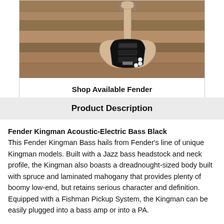[Figure (photo): Photo of a Fender Stratocaster electric guitar with black pickguard and natural wood body, leaning against a wooden plank wall]
Shop Available Fender
Product Description
Fender Kingman Acoustic-Electric Bass Black This Fender Kingman Bass hails from Fender's line of unique Kingman models. Built with a Jazz bass headstock and neck profile, the Kingman also boasts a dreadnought-sized body built with spruce and laminated mahogany that provides plenty of boomy low-end, but retains serious character and definition. Equipped with a Fishman Pickup System, the Kingman can be easily plugged into a bass amp or into a PA.